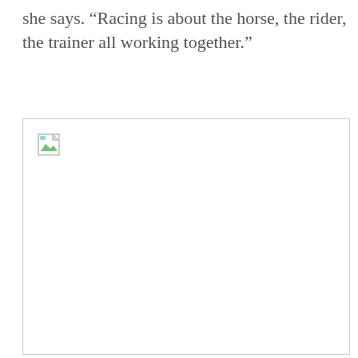she says. “Racing is about the horse, the rider, the trainer all working together.”
[Figure (photo): A large image placeholder with a broken image icon in the top-left corner, indicating a missing or unloaded photograph.]